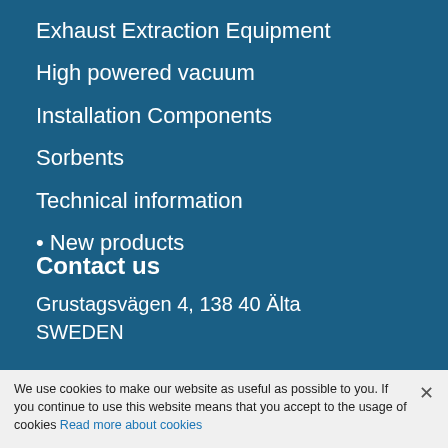Exhaust Extraction Equipment
High powered vacuum
Installation Components
Sorbents
Technical information
• New products
Contact us
Grustagsvägen 4, 138 40 Älta
SWEDEN
Phone 08-747 67 00
We use cookies to make our website as useful as possible to you. If you continue to use this website means that you accept to the usage of cookies Read more about cookies